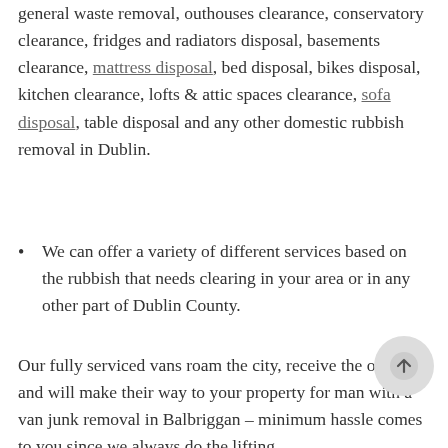general waste removal, outhouses clearance, conservatory clearance, fridges and radiators disposal, basements clearance, mattress disposal, bed disposal, bikes disposal, kitchen clearance, lofts & attic spaces clearance, sofa disposal, table disposal and any other domestic rubbish removal in Dublin.
We can offer a variety of different services based on the rubbish that needs clearing in your area or in any other part of Dublin County.
Our fully serviced vans roam the city, receive the order, and will make their way to your property for man with a van junk removal in Balbriggan – minimum hassle comes to you since we always do the lifting